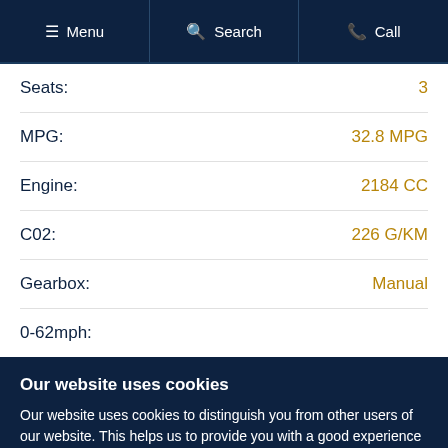Menu  Search  Call
| Spec | Value |
| --- | --- |
| Seats: | 3 |
| MPG: | 32.8 MPG |
| Engine: | 2184 CC |
| C02: | 226 G/KM |
| Gearbox: | Manual |
| 0-62mph: |  |
Our website uses cookies
Our website uses cookies to distinguish you from other users of our website. This helps us to provide you with a good experience when you browse our website and also allows us to improve our site. For detailed information on the cookies we use and the purposes for which we use them see our Privacy policy.
Accept and close   Learn more